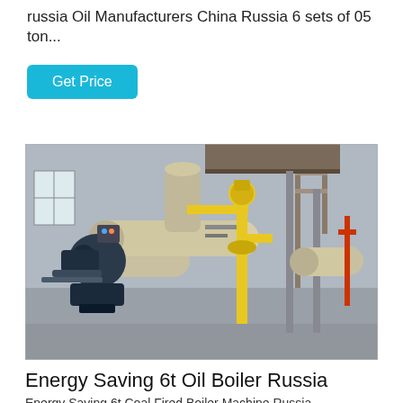russia Oil Manufacturers China Russia 6 sets of 05 ton...
Get Price
[Figure (photo): Industrial oil/gas boiler equipment in a factory setting. Large horizontal cylindrical boilers in beige/tan color with blue burner assemblies, yellow gas piping and valves, and metal support structures. Multiple boilers visible in an industrial hall.]
Energy Saving 6t Oil Boiler Russia
Energy Saving 6t Coal Fired Boiler Machine Russia